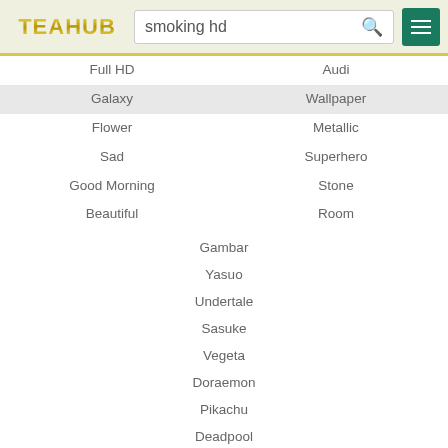TEAHUB | smoking hd
Full HD
Audi
Galaxy
Wallpaper
Flower
Metallic
Sad
Superhero
Good Morning
Stone
Beautiful
Room
Gambar
Yasuo
Undertale
Sasuke
Vegeta
Doraemon
Pikachu
Deadpool